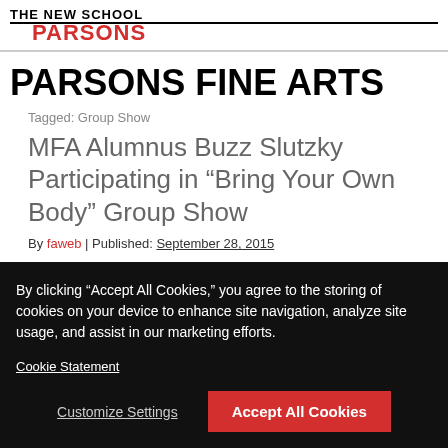THE NEW SCHOOL PARSONS
PARSONS FINE ARTS
Tagged: Group Show
MFA Alumnus Buzz Slutzky Participating in “Bring Your Own Body” Group Show
By faweb | Published: September 28, 2015
By clicking “Accept All Cookies,” you agree to the storing of cookies on your device to enhance site navigation, analyze site usage, and assist in our marketing efforts.
Cookie Statement
Customize Settings
Accept All Cookies